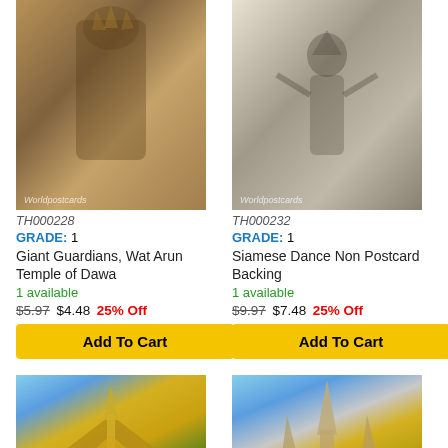[Figure (photo): Colorful photo of Giant Guardians statue at Wat Arun Temple, with watermark 'Worldpostcards']
TH000228
GRADE: 1
Giant Guardians, Wat Arun Temple of Dawa
1 available
$5.97 $4.48 25% Off
Add To Cart
[Figure (photo): Black and white photo of Siamese Dance, with watermark 'Worldpostcards']
TH000232
GRADE: 1
Siamese Dance Non Postcard Backing
1 available
$9.97 $7.48 25% Off
Add To Cart
[Figure (photo): Color photo of Thai temple (Grand Palace area), with watermark 'Worldpostcards']
[Figure (photo): Color photo of Wat Arun temple exterior, with watermark 'Worldpostcards']